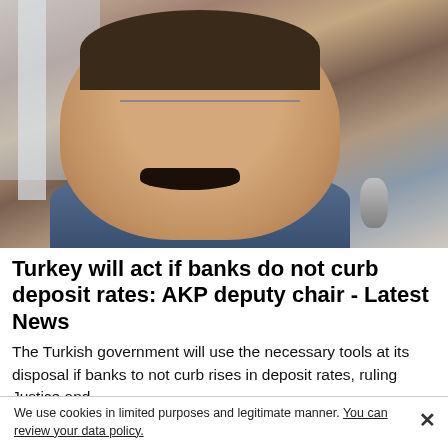[Figure (photo): Close-up photo of a middle-aged man with dark hair, glasses, and a mustache, wearing a blue suit jacket, speaking into a microphone outdoors.]
Turkey will act if banks do not curb deposit rates: AKP deputy chair - Latest News
The Turkish government will use the necessary tools at its disposal if banks to not curb rises in deposit rates, ruling Justice and …
We use cookies in limited purposes and legitimate manner. You can review your data policy.